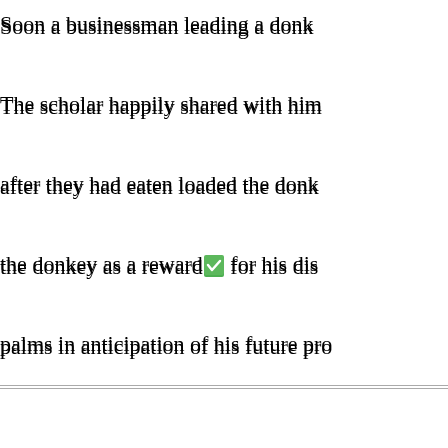Soon a businessman leading a donk…
The scholar happily shared with him…
after they had eaten loaded the donk…
the donkey as a reward [icon] for his dis…
palms in anticipation of his future pro…
They traveled in silence but soon da…
because there wasn't a town or villa…
night in the dark forest.Suddenly the…
“There,” he said. “I see a light!”
“But how can that faint light help us,…
the forest is big, dark and threatenin…
While they were arguing, the light m…
lantern. That man was a philosopher…